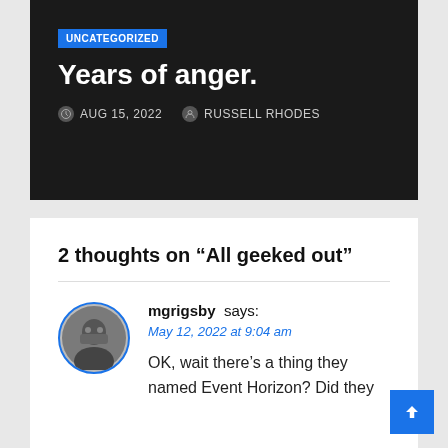UNCATEGORIZED
Years of anger.
AUG 15, 2022   RUSSELL RHODES
2 thoughts on “All geeked out”
mgrigsby says:
May 12, 2022 at 9:04 am
OK, wait there’s a thing they named Event Horizon? Did they